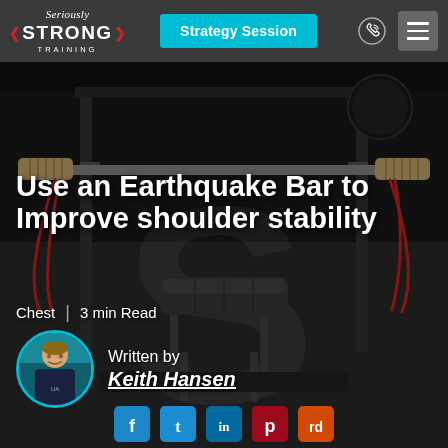Seriously STRONG TRAINING | Strategy Session
[Figure (photo): Gym interior showing an earthquake bar (barbell with resistance bands and wooden handles) mounted on a rack above a weight bench, on a rubber floor mat with a large 'S' logo]
Use an Earthquake Bar to Improve shoulder stability
Chest | 3 min Read
Written by
Keith Hansen
[Figure (photo): Circular avatar photo of Keith Hansen, a man in a dark polo shirt, standing in front of the Seriously Strong Training logo background]